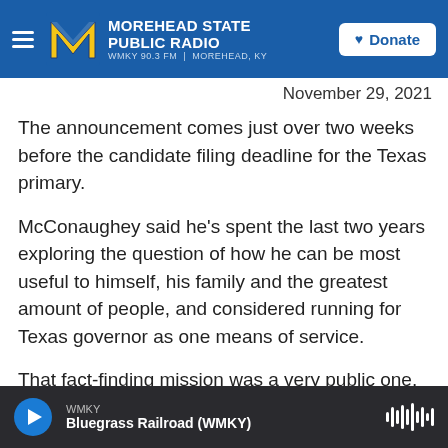MOREHEAD STATE PUBLIC RADIO | WMKY 90.3 FM | MOREHEAD, KY | Donate
November 29, 2021
The announcement comes just over two weeks before the candidate filing deadline for the Texas primary.
McConaughey said he's spent the last two years exploring the question of how he can be most useful to himself, his family and the greatest amount of people, and considered running for Texas governor as one means of service.
That fact-finding mission was a very public one. As recently as early October, McConaughey spoke of
WMKY | Bluegrass Railroad (WMKY)